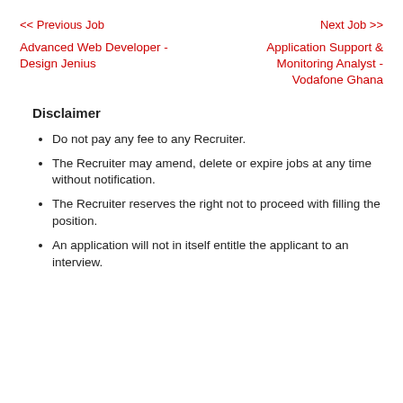<< Previous Job    Next Job >>
Advanced Web Developer - Design Jenius
Application Support & Monitoring Analyst - Vodafone Ghana
Disclaimer
Do not pay any fee to any Recruiter.
The Recruiter may amend, delete or expire jobs at any time without notification.
The Recruiter reserves the right not to proceed with filling the position.
An application will not in itself entitle the applicant to an interview.